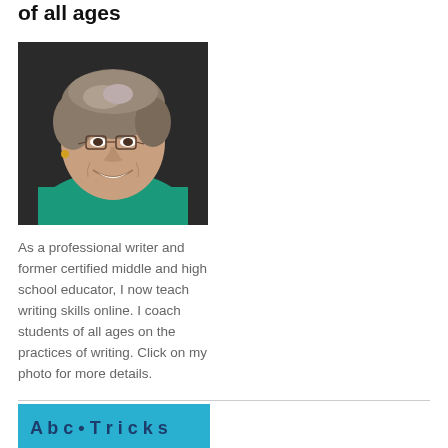of all ages
[Figure (photo): Headshot of a smiling older woman with short gray-brown hair, wearing glasses and a teal/green top, photographed against a dark background.]
As a professional writer and former certified middle and high school educator, I now teach writing skills online. I coach students of all ages on the practices of writing. Click on my photo for more details.
[Figure (other): Partial view of a blue banner or book cover with text partially visible at the bottom of the page.]